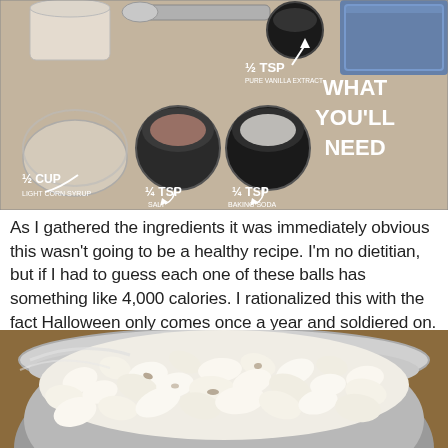[Figure (photo): Overhead photo of recipe ingredients laid out on a countertop showing: 1/2 cup light corn syrup, 1/2 tsp pure vanilla extract, 1/4 tsp salt, 1/4 tsp baking soda, with measuring cups and spoons, labeled 'WHAT YOU'LL NEED']
As I gathered the ingredients it was immediately obvious this wasn't going to be a healthy recipe. I'm no dietitian, but if I had to guess each one of these balls has something like 4,000 calories. I rationalized this with the fact Halloween only comes once a year and soldiered on.
[Figure (photo): Photo of a large silver/chrome mixing bowl filled with white popcorn]